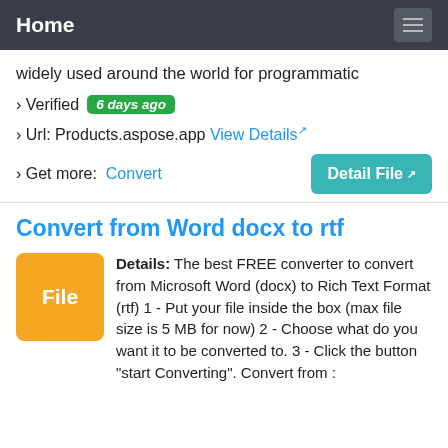Home
widely used around the world for programmatic
› Verified 6 days ago
› Url: Products.aspose.app View Details
› Get more: Convert
Convert from Word docx to rtf
Details: The best FREE converter to convert from Microsoft Word (docx) to Rich Text Format (rtf) 1 - Put your file inside the box (max file size is 5 MB for now) 2 - Choose what do you want it to be converted to. 3 - Click the button "start Converting". Convert from :